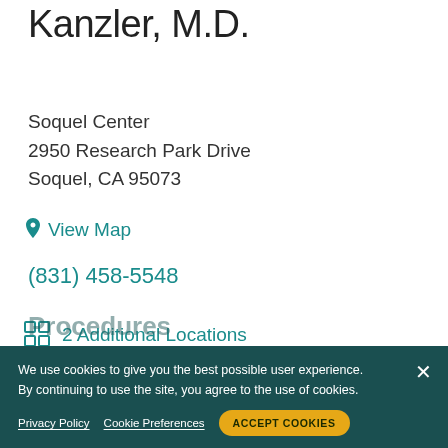Kanzler, M.D.
Soquel Center
2950 Research Park Drive
Soquel, CA 95073
View Map
(831) 458-5548
2 Additional Locations
Offers MyHealth Online
We use cookies to give you the best possible user experience. By continuing to use the site, you agree to the use of cookies.
Privacy Policy
Cookie Preferences
ACCEPT COOKIES